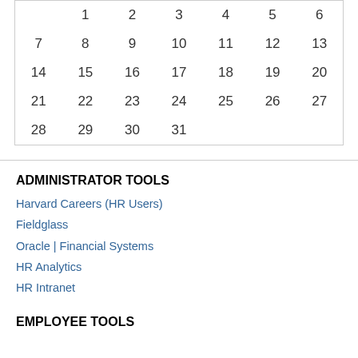|  | 1 | 2 | 3 | 4 | 5 | 6 |
| 7 | 8 | 9 | 10 | 11 | 12 | 13 |
| 14 | 15 | 16 | 17 | 18 | 19 | 20 |
| 21 | 22 | 23 | 24 | 25 | 26 | 27 |
| 28 | 29 | 30 | 31 |  |  |  |
ADMINISTRATOR TOOLS
Harvard Careers (HR Users)
Fieldglass
Oracle | Financial Systems
HR Analytics
HR Intranet
EMPLOYEE TOOLS